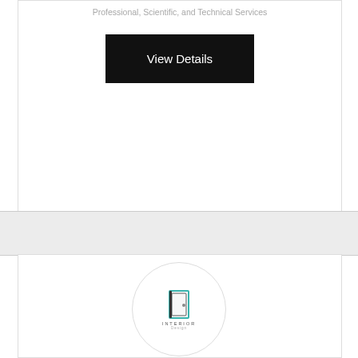Professional, Scientific, and Technical Services
View Details
[Figure (logo): Interior design company logo inside a circular border with a door icon and text INTERIOR DESIGN]
Simply Touch Interior Decorator
16629 Valencia Boulevard, Loxahatchee, FL
Professional, Scientific, and Technical Services
View Details
Call Now